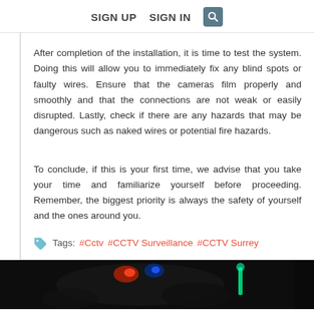SIGN UP   SIGN IN   [search icon]
After completion of the installation, it is time to test the system. Doing this will allow you to immediately fix any blind spots or faulty wires. Ensure that the cameras film properly and smoothly and that the connections are not weak or easily disrupted. Lastly, check if there are any hazards that may be dangerous such as naked wires or potential fire hazards.
To conclude, if this is your first time, we advise that you take your time and familiarize yourself before proceeding. Remember, the biggest priority is always the safety of yourself and the ones around you.
Tags: #Cctv #CCTV Surveillance #CCTV Surrey
[Figure (photo): Dark image with colored lights, possibly a night scene with red, blue and green lights]